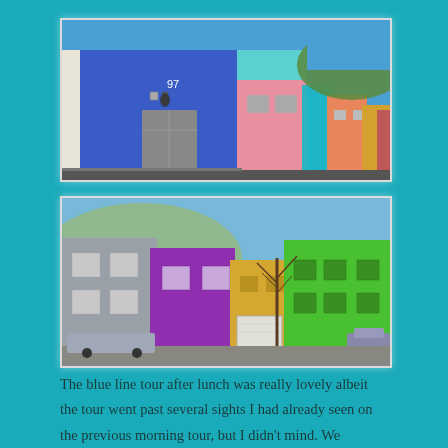[Figure (photo): Colorful Bo-Kaap houses in Cape Town seen from below, featuring bright blue, pink, teal and orange painted facades under a clear blue sky with a green hill in the background.]
[Figure (photo): Street-level view of Bo-Kaap colorful houses in Cape Town showing grey, purple, yellow and bright green painted buildings with a parked car and bare trees.]
The blue line tour after lunch was really lovely albeit the tour went past several sights I had already seen on the previous morning tour, but I didn't mind.  We travelled to Beach Road at Green Point, Camps and Llandudno Beach (now there's a good Welsh name)